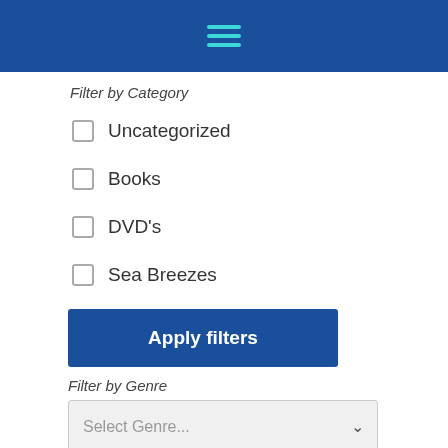[Figure (screenshot): Blue navigation header bar with teal hamburger menu icon]
Filter by Category
Uncategorized
Books
DVD's
Sea Breezes
Apply filters
Filter by Genre
Select Genre...
Apply filters
Filter by Vessel